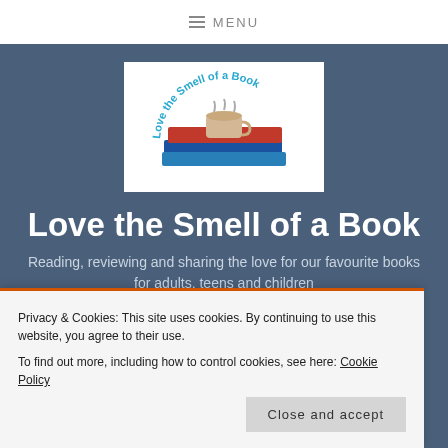≡ MENU
[Figure (logo): Logo for 'Love the Smell of a Book' — a stack of books with a coffee cup on top, arched teal text reading 'Love the Smell of a Book' around the top]
Love the Smell of a Book
Reading, reviewing and sharing the love for our favourite books for adults, teens and children
Privacy & Cookies: This site uses cookies. By continuing to use this website, you agree to their use.
To find out more, including how to control cookies, see here: Cookie Policy
Close and accept